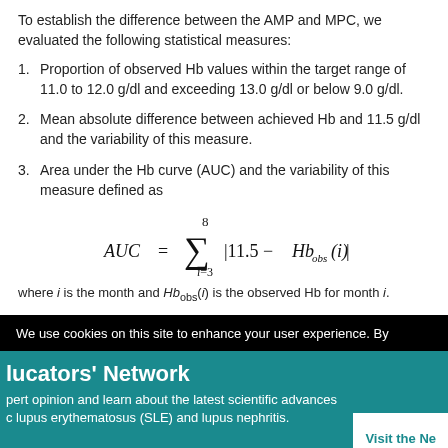To establish the difference between the AMP and MPC, we evaluated the following statistical measures:
1. Proportion of observed Hb values within the target range of 11.0 to 12.0 g/dl and exceeding 13.0 g/dl or below 9.0 g/dl.
2. Mean absolute difference between achieved Hb and 11.5 g/dl and the variability of this measure.
3. Area under the Hb curve (AUC) and the variability of this measure defined as
where i is the month and Hbobs(i) is the observed Hb for month i.
We use cookies on this site to enhance your user experience. By
lucators' Network
pert opinion and learn about the latest scientific advances c lupus erythematosus (SLE) and lupus nephritis.